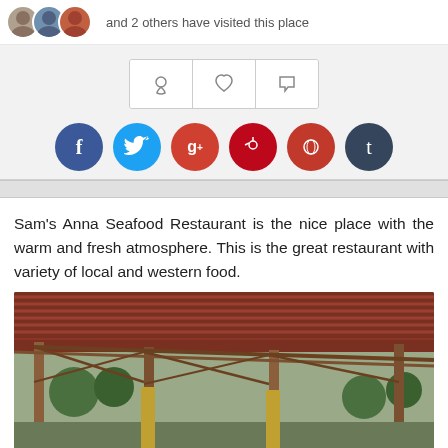and 2 others have visited this place
[Figure (infographic): Row of three action icon buttons: location pin, heart, flag]
[Figure (infographic): Row of six social media circular buttons: Facebook (f), Twitter, Google+ (g+), Pinterest, Reddit/share, Tumblr (t)]
Sam's Anna Seafood Restaurant is the nice place with the warm and fresh atmosphere. This is the great restaurant with variety of local and western food.
[Figure (photo): Outdoor wooden open-air restaurant structure with reddish corrugated roof and wooden beams/columns, trees visible in background]